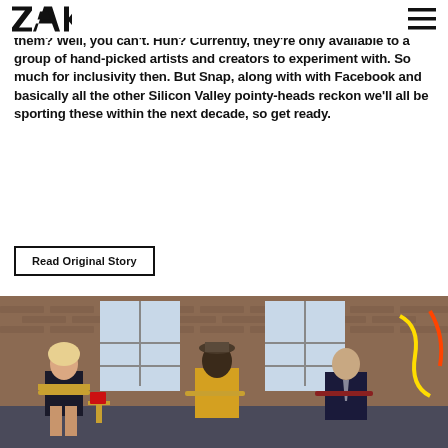ZAK [logo] [hamburger menu]
them? Well, you can't. Huh? Currently, they're only available to a group of hand-picked artists and creators to experiment with. So much for inclusivity then. But Snap, along with with Facebook and basically all the other Silicon Valley pointy-heads reckon we'll all be sporting these within the next decade, so get ready.
Read Original Story
[Figure (photo): Three people seated in ornate gold chairs in a brick-walled industrial space with arched windows. Left: a blonde woman in a black outfit. Center: a man in a yellow jacket and cap. Right: a man in a dark suit. A red neon sign is partially visible on the right. Small tables with KFC buckets are between them.]